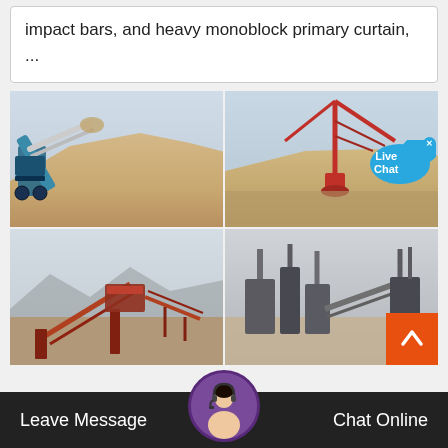impact bars, and heavy monoblock primary curtain, ...
[Figure (photo): Four photos of industrial quarry/crushing equipment and aggregate piles arranged in a 2x2 grid. Top-left: conveyor belt with aggregate pile. Top-right: crane/excavator with aggregate pile and Live Chat overlay. Bottom-left: conveyor/screening plant at quarry site with mountains. Bottom-right: industrial crushing/processing plant equipment.]
Leave Message
Chat Online